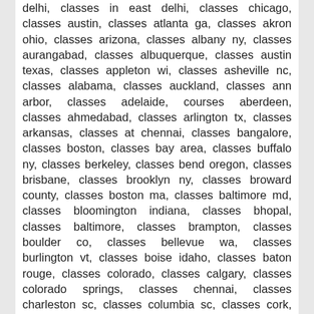delhi, classes in east delhi, classes chicago, classes austin, classes atlanta ga, classes akron ohio, classes arizona, classes albany ny, classes aurangabad, classes albuquerque, classes austin texas, classes appleton wi, classes asheville nc, classes alabama, classes auckland, classes ann arbor, classes adelaide, courses aberdeen, classes ahmedabad, classes arlington tx, classes arkansas, classes at chennai, classes bangalore, classes boston, classes bay area, classes buffalo ny, classes berkeley, classes bend oregon, classes brisbane, classes brooklyn ny, classes broward county, classes boston ma, classes baltimore md, classes bloomington indiana, classes bhopal, classes baltimore, classes brampton, classes boulder co, classes bellevue wa, classes burlington vt, classes boise idaho, classes baton rouge, classes colorado, classes calgary, classes colorado springs, classes chennai, classes charleston sc, classes columbia sc, classes cork, classes ct, classes charlottesville va, classes clearwater fl, classes cleveland ohio, classes charlotte nc, classes chicago suburbs, classes columbus ohio, classes concord nh, classes cincinnati, courses cape town, classes cedar rapids ia, classes dallas, classes dayton ohio, classes detroit, classes dc, classes denver colorado, classes des moines iowa, classes dallas texas, classes dublin, classes durham